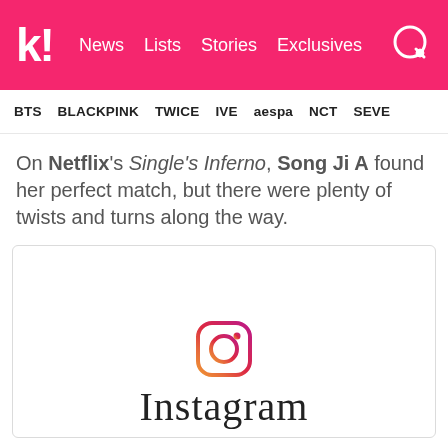k! News  Lists  Stories  Exclusives
BTS  BLACKPINK  TWICE  IVE  aespa  NCT  SEVE
On Netflix's Single's Inferno, Song Ji A found her perfect match, but there were plenty of twists and turns along the way.
[Figure (screenshot): Embedded Instagram post placeholder with Instagram logo icon and Instagram wordmark in script font]